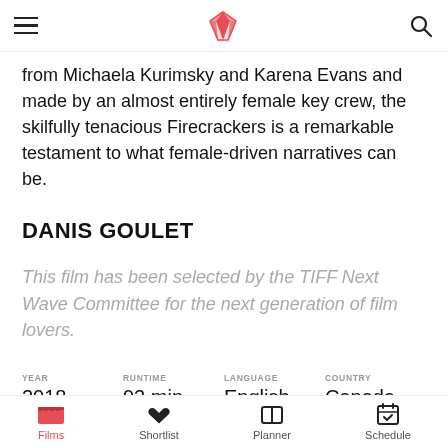TIFF website navigation bar with hamburger menu, gem logo, and search icon
from Michaela Kurimsky and Karena Evans and made by an almost entirely female key crew, the skilfully tenacious Firecrackers is a remarkable testament to what female-driven narratives can be.
DANIS GOULET
This film has been selected by the TIFF Next Wave Committee for the next generation of film lovers.
| YEAR | RUNTIME | LANGUAGE | COUNTRY |
| --- | --- | --- | --- |
| 2018 | 93 min | English | Canada |
| PRINCIPAL CAST | PREMIERE |
| --- | --- |
| Michaela Kurimsky, Karena Evans, | World Premiere |
Films | Shortlist | Planner | Schedule